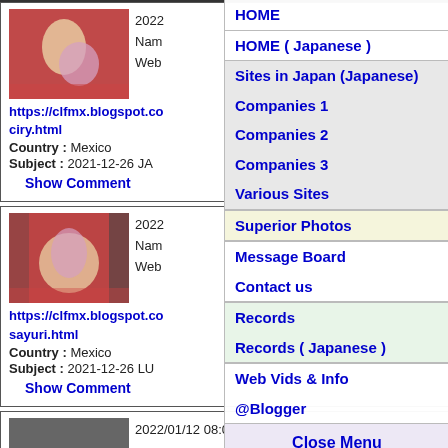[Figure (photo): Two wrestlers on a red mat]
2022
Name:
Web:
https://clfmx.blogspot.co ciry.html
Country : Mexico
Subject : 2021-12-26 JA
Show Comment
[Figure (photo): Two wrestlers on a red mat, second card]
2022
Name:
Web:
https://clfmx.blogspot.co sayuri.html
Country : Mexico
Subject : 2021-12-26 LU
Show Comment
2022/01/12 08:00
HOME
HOME ( Japanese )
Sites in Japan (Japanese)
Companies 1
Companies 2
Companies 3
Various Sites
Superior Photos
Message Board
Contact us
Records
Records ( Japanese )
Web Vids & Info
@Blogger
Close Menu